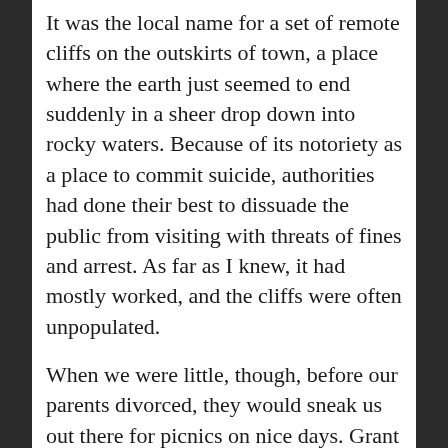It was the local name for a set of remote cliffs on the outskirts of town, a place where the earth just seemed to end suddenly in a sheer drop down into rocky waters. Because of its notoriety as a place to commit suicide, authorities had done their best to dissuade the public from visiting with threats of fines and arrest. As far as I knew, it had mostly worked, and the cliffs were often unpopulated.
When we were little, though, before our parents divorced, they would sneak us out there for picnics on nice days. Grant had always liked the lighthouse that was visible from the highest point.
I broke just about every driving related law during my mad dash for The Vanishing Grounds.
Grant's truck was waiting for me in the small dirt